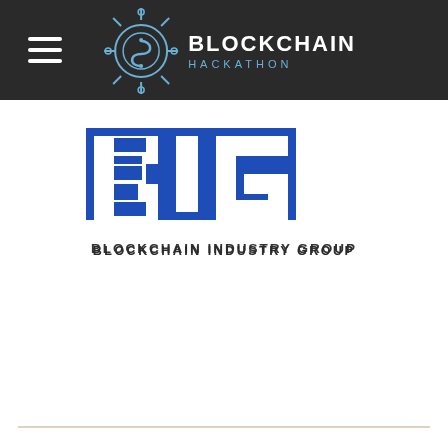Blockchain Hackathon
[Figure (logo): BIG - Blockchain Industry Group logo: blue rectangle with large white letters 'BIG' and two blue horizontal stripes inside the B, with 'BLOCKCHAIN INDUSTRY GROUP' text below in dark gray]